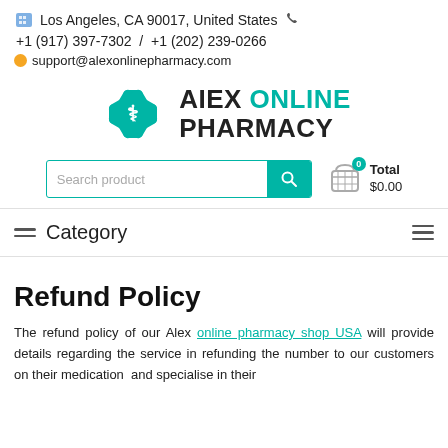Los Angeles, CA 90017, United States
+1 (917) 397-7302  /  +1 (202) 239-0266
support@alexonlinepharmacy.com
[Figure (logo): Alex Online Pharmacy logo with teal star of life icon and text 'AIEX ONLINE PHARMACY']
Search product
Total $0.00
Category
Refund Policy
The refund policy of our Alex online pharmacy shop USA will provide details regarding the service in refunding the number to our customers on their medication  and specialise in their